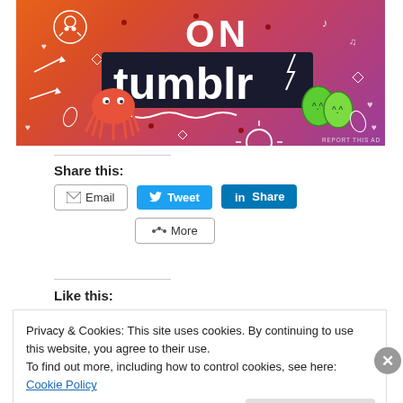[Figure (illustration): Tumblr advertisement banner with orange-to-purple gradient background, white doodles (skull, arrows, hearts, music notes, sun), large text 'ON tumblr' in white and black, cartoon squid/octopus, and green leaf characters. Text 'REPORT THIS AD' in bottom right corner.]
Share this:
[Figure (other): Social sharing buttons row: Email (outline button), Tweet (blue Twitter button), Share (blue LinkedIn button), and More (outline button with share icon)]
Like this:
Privacy & Cookies: This site uses cookies. By continuing to use this website, you agree to their use.
To find out more, including how to control cookies, see here: Cookie Policy
Close and accept